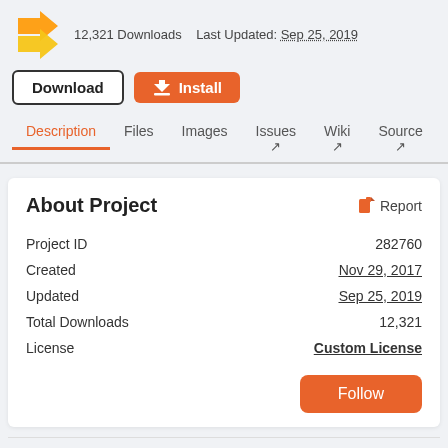12,321 Downloads   Last Updated: Sep 25, 2019
Download   Install
Description   Files   Images   Issues   Wiki   Source   Pages   Relations
About Project
| Field | Value |
| --- | --- |
| Project ID | 282760 |
| Created | Nov 29, 2017 |
| Updated | Sep 25, 2019 |
| Total Downloads | 12,321 |
| License | Custom License |
Follow
Categories